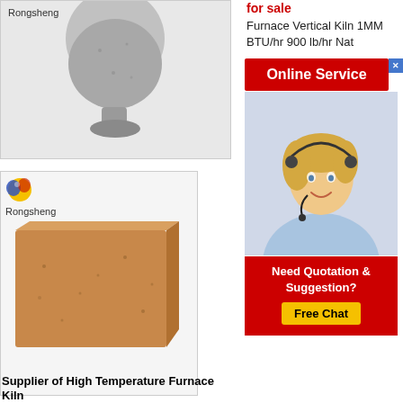[Figure (photo): Gray powdery material shaped like an hourglass/vase on a gray background, with 'Rongsheng' brand label in top left corner]
[Figure (photo): Rectangular brown firebrick/refractory brick on a white background, with Rongsheng balloon logo and brand label]
Supplier of High Temperature Furnace Kiln
for sale
Furnace Vertical Kiln 1MM BTU/hr 900 lb/hr Nat
[Figure (infographic): Red banner with white text 'Online Service' and a blue X close button]
[Figure (photo): Customer service representative - smiling blonde woman wearing a headset, light blue shirt]
[Figure (infographic): Red banner with 'Need Quotation & Suggestion?' text and yellow 'Free Chat' button]